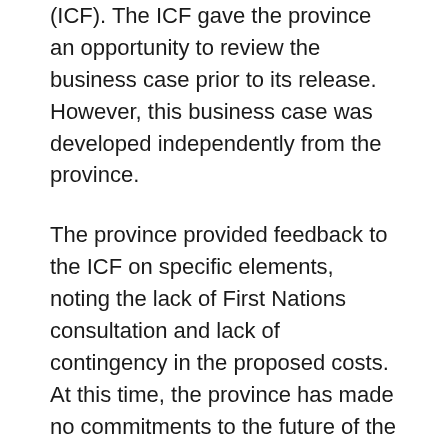(ICF). The ICF gave the province an opportunity to review the business case prior to its release. However, this business case was developed independently from the province.
The province provided feedback to the ICF on specific elements, noting the lack of First Nations consultation and lack of contingency in the proposed costs. At this time, the province has made no commitments to the future of the rail corridor. Further discussion is required to determine its best use.
The province is also closely monitoring how the federal government responds to a B.C. Court of Appeal ruling related to sections of the corridor that lie within the Snaw-Naw-As First Nation Reserve.